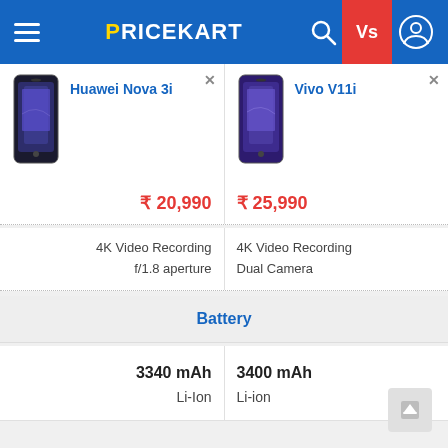PRICEKART
| Huawei Nova 3i | Vivo V11i |
| --- | --- |
| ₹ 20,990 | ₹ 25,990 |
| 4K Video Recording
f/1.8 aperture | 4K Video Recording
Dual Camera |
| Battery | Battery |
| 3340 mAh
Li-Ion | 3400 mAh
Li-ion |